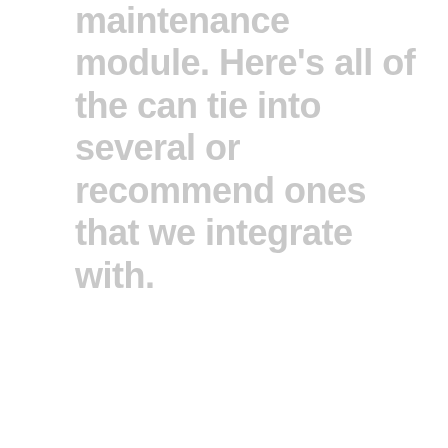maintenance module. Here's all of the can tie into several or recommend ones that we integrate with.